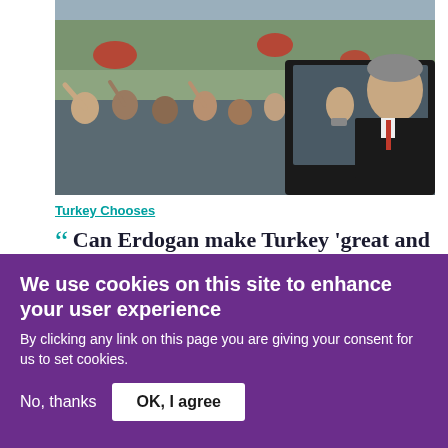[Figure (photo): A man in a suit waving from inside a car window to a crowd of people waving Turkish flags outside]
Turkey Chooses
“ Can Erdogan make Turkey 'great and powerful' again?
David Barchard
[Figure (photo): Crowd of people gathered outdoors]
We use cookies on this site to enhance your user experience
By clicking any link on this page you are giving your consent for us to set cookies.
No, thanks   OK, I agree